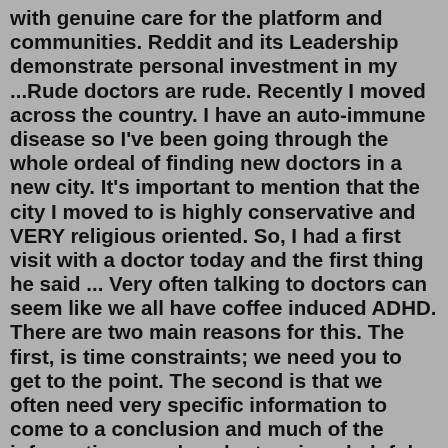with genuine care for the platform and communities. Reddit and its Leadership demonstrate personal investment in my ...Rude doctors are rude. Recently I moved across the country. I have an auto-immune disease so I've been going through the whole ordeal of finding new doctors in a new city. It's important to mention that the city I moved to is highly conservative and VERY religious oriented. So, I had a first visit with a doctor today and the first thing he said ... Very often talking to doctors can seem like we all have coffee induced ADHD. There are two main reasons for this. The first, is time constraints; we need you to get to the point. The second is that we often need very specific information to come to a conclusion and much of the information people volunteer is unhelpful verbal diarrhea (logorrhea). Jun 19, 2019 · The researchers found that when surgeons had one or more reports of unprofessional behavior over the previous 36 months, their patients were 12% to 14% more likely to experience complications in a ... Many doctors are not rude; many are, but those who are